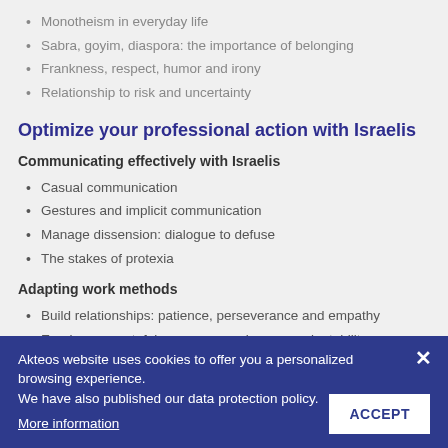Monotheism in everyday life
Sabra, goyim, diaspora: the importance of belonging
Frankness, respect, humor and irony
Relationship to risk and uncertainty
Optimize your professional action with Israelis
Communicating effectively with Israelis
Casual communication
Gestures and implicit communication
Manage dissension: dialogue to defuse
The stakes of protexia
Adapting work methods
Build relationships: patience, perseverance and empathy
Earning respect: fairness, responsiveness, adaptability
Flexible, result-oriented processes
Some improvisation
Conducting successful meetings and negotiations with Israelis
Get to know each other
Identify decision makers
Invest in the long-term
Akteos website uses cookies to offer you a personalized browsing experience.
We have also published our data protection policy.
More information
ACCEPT